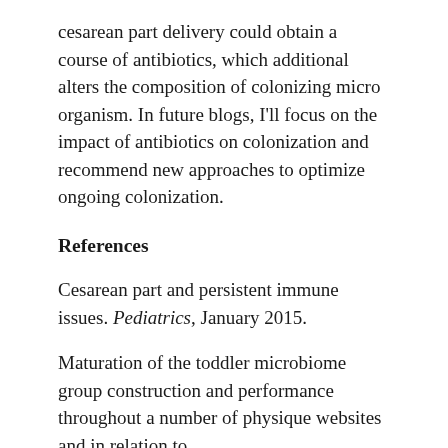cesarean part delivery could obtain a course of antibiotics, which additional alters the composition of colonizing micro organism. In future blogs, I'll focus on the impact of antibiotics on colonization and recommend new approaches to optimize ongoing colonization.
References
Cesarean part and persistent immune issues. Pediatrics, January 2015.
Maturation of the toddler microbiome group construction and performance throughout a number of physique websites and in relation to